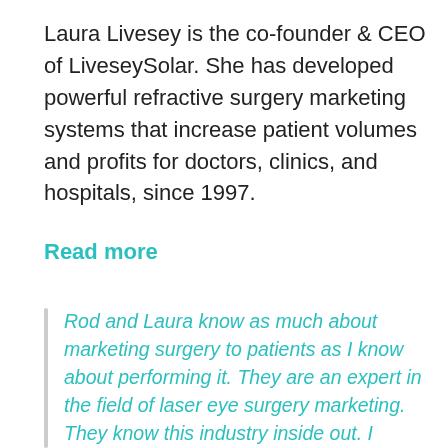Laura Livesey is the co-founder & CEO of LiveseySolar. She has developed powerful refractive surgery marketing systems that increase patient volumes and profits for doctors, clinics, and hospitals, since 1997.
Read more
Rod and Laura know as much about marketing surgery to patients as I know about performing it. They are an expert in the field of laser eye surgery marketing. They know this industry inside out. I believe that they could help many companies in a